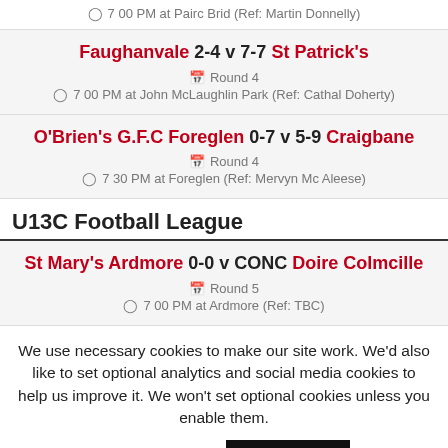7 00 PM at Pairc Brid (Ref: Martin Donnelly)
Faughanvale 2-4 v 7-7 St Patrick's
Round 4
7 00 PM at John McLaughlin Park (Ref: Cathal Doherty)
O'Brien's G.F.C Foreglen 0-7 v 5-9 Craigbane
Round 4
7 30 PM at Foreglen (Ref: Mervyn Mc Aleese)
U13C Football League
St Mary's Ardmore 0-0 v CONC Doire Colmcille
Round 5
7 00 PM at Ardmore (Ref: TBC)
We use necessary cookies to make our site work. We'd also like to set optional analytics and social media cookies to help us improve it. We won't set optional cookies unless you enable them. Cookie settings ACCEPT